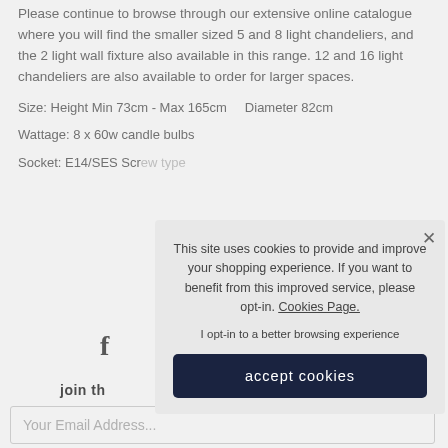Please continue to browse through our extensive online catalogue where you will find the smaller sized 5 and 8 light chandeliers, and the 2 light wall fixture also available in this range. 12 and 16 light chandeliers are also available to order for larger spaces.
Size: Height Min 73cm - Max 165cm    Diameter 82cm
Wattage: 8 x 60w candle bulbs
Socket: E14/SES Screw type
[Figure (other): Facebook social media icon (letter f)]
join th
Your Email Address...
This site uses cookies to provide and improve your shopping experience. If you want to benefit from this improved service, please opt-in. Cookies Page.
I opt-in to a better browsing experience
accept cookies